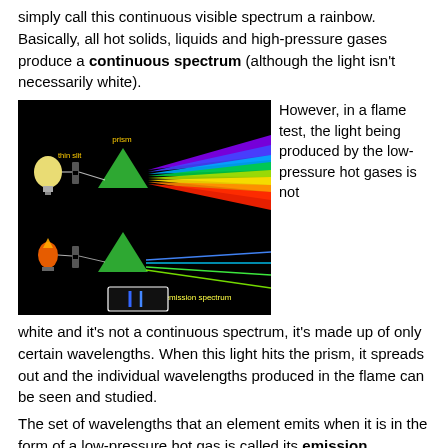simply call this continuous visible spectrum a rainbow. Basically, all hot solids, liquids and high-pressure gases produce a continuous spectrum (although the light isn't necessarily white).
[Figure (illustration): Diagram on black background showing two scenarios: top row — a light bulb, thin slit, prism, and a rainbow continuous spectrum fan; bottom row — a flame source, thin slit, prism, and emission spectrum as discrete colored lines. Labels: 'prism', 'thin slit', 'emission spectrum'. A box at the bottom shows two blue vertical lines representing discrete spectral lines.]
However, in a flame test, the light being produced by the low-pressure hot gases is not white and it's not a continuous spectrum, it's made up of only certain wavelengths. When this light hits the prism, it spreads out and the individual wavelengths produced in the flame can be seen and studied.
The set of wavelengths that an element emits when it is in the form of a low-pressure hot gas is called its emission spectrum